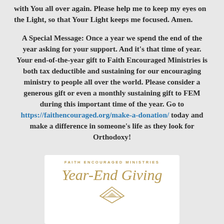with You all over again. Please help me to keep my eyes on the Light, so that Your Light keeps me focused. Amen.
A Special Message: Once a year we spend the end of the year asking for your support. And it's that time of year. Your end-of-the-year gift to Faith Encouraged Ministries is both tax deductible and sustaining for our encouraging ministry to people all over the world. Please consider a generous gift or even a monthly sustaining gift to FEM during this important time of the year. Go to https://faithencouraged.org/make-a-donation/ today and make a difference in someone's life as they look for Orthodoxy!
[Figure (illustration): Faith Encouraged Ministries Year-End Giving graphic with gold script text and a geometric diamond/triangle logo on white background]